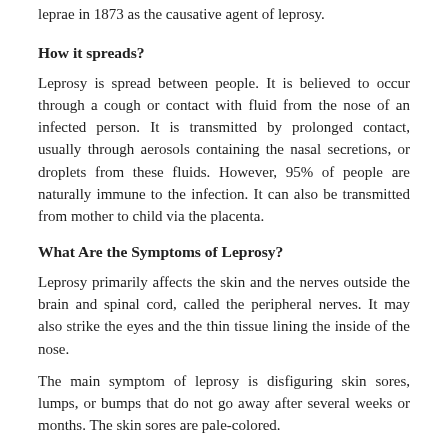leprae in 1873 as the causative agent of leprosy.
How it spreads?
Leprosy is spread between people. It is believed to occur through a cough or contact with fluid from the nose of an infected person. It is transmitted by prolonged contact, usually through aerosols containing the nasal secretions, or droplets from these fluids. However, 95% of people are naturally immune to the infection. It can also be transmitted from mother to child via the placenta.
What Are the Symptoms of Leprosy?
Leprosy primarily affects the skin and the nerves outside the brain and spinal cord, called the peripheral nerves. It may also strike the eyes and the thin tissue lining the inside of the nose.
The main symptom of leprosy is disfiguring skin sores, lumps, or bumps that do not go away after several weeks or months. The skin sores are pale-colored.